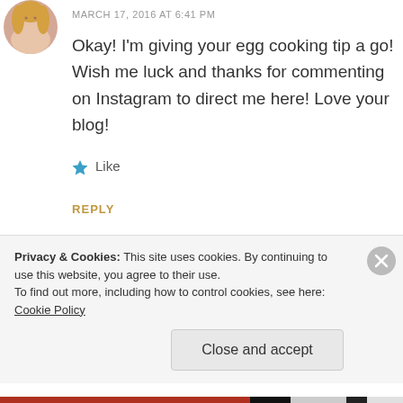[Figure (photo): Circular avatar photo of a smiling woman with blonde hair, partially cropped at top]
MARCH 17, 2016 AT 6:41 PM
Okay! I'm giving your egg cooking tip a go! Wish me luck and thanks for commenting on Instagram to direct me here! Love your blog!
★ Like
REPLY
[Figure (photo): Circular avatar photo, partially visible at bottom of page]
Privacy & Cookies: This site uses cookies. By continuing to use this website, you agree to their use.
To find out more, including how to control cookies, see here: Cookie Policy
Close and accept